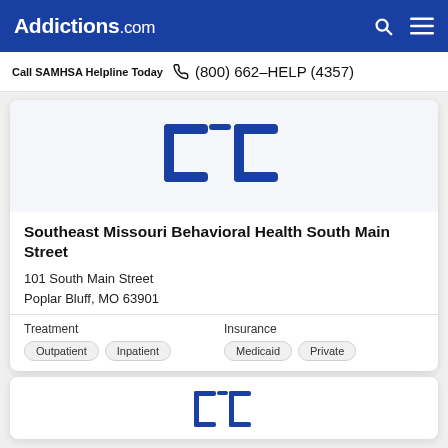Addictions.com
Call SAMHSA Helpline Today  (800) 662-HELP (4357)
[Figure (logo): Addictions.com logo mark — two blue bracket/bracket shapes on light gray background]
Southeast Missouri Behavioral Health South Main Street
101 South Main Street
Poplar Bluff, MO 63901
Treatment
Outpatient  Inpatient
Insurance
Medicaid  Private
[Figure (logo): Partial second facility card with logo mark at bottom]